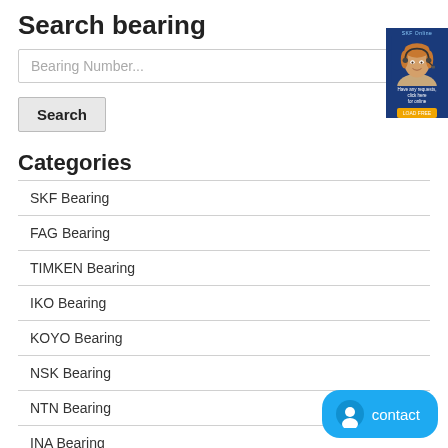Search bearing
Bearing Number...
Search
Categories
SKF Bearing
FAG Bearing
TIMKEN Bearing
IKO Bearing
KOYO Bearing
NSK Bearing
NTN Bearing
INA Bearing
[Figure (photo): Advertisement banner with customer service representative wearing headset, dark blue background]
[Figure (infographic): Blue contact button with chat icon and 'contact' label]